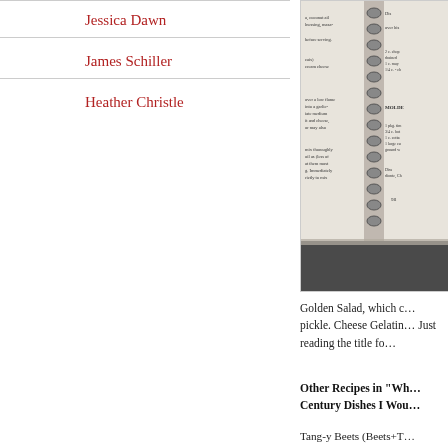Jessica Dawn
James Schiller
Heather Christle
[Figure (photo): Open spiral-bound cookbook showing recipe pages with ingredients lists, photographed on a dark surface]
Golden Salad, which c... pickle. Cheese Gelatin... Just reading the title fo...
Other Recipes in “Wh... Century Dishes I Wou...
Tang-y Beets (Beets+T...
Creamed Celery and P...